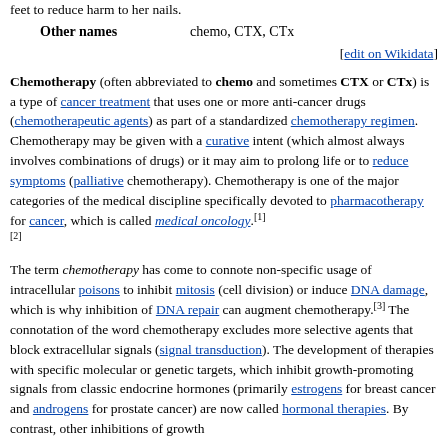feet to reduce harm to her nails.
| Other names | chemo, CTX, CTx |
| --- | --- |
[edit on Wikidata]
Chemotherapy (often abbreviated to chemo and sometimes CTX or CTx) is a type of cancer treatment that uses one or more anti-cancer drugs (chemotherapeutic agents) as part of a standardized chemotherapy regimen. Chemotherapy may be given with a curative intent (which almost always involves combinations of drugs) or it may aim to prolong life or to reduce symptoms (palliative chemotherapy). Chemotherapy is one of the major categories of the medical discipline specifically devoted to pharmacotherapy for cancer, which is called medical oncology.[1][2]
The term chemotherapy has come to connote non-specific usage of intracellular poisons to inhibit mitosis (cell division) or induce DNA damage, which is why inhibition of DNA repair can augment chemotherapy.[3] The connotation of the word chemotherapy excludes more selective agents that block extracellular signals (signal transduction). The development of therapies with specific molecular or genetic targets, which inhibit growth-promoting signals from classic endocrine hormones (primarily estrogens for breast cancer and androgens for prostate cancer) are now called hormonal therapies. By contrast, other inhibitions of growth